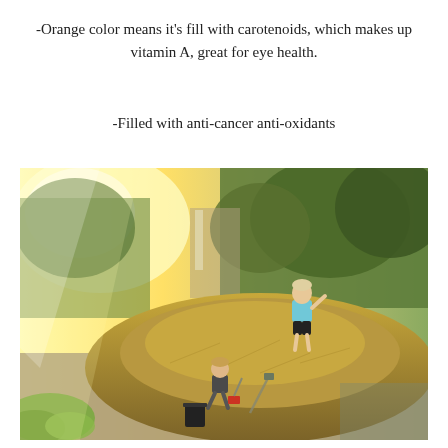-Orange color means it's fill with carotenoids, which makes up vitamin A, great for eye health.
-Filled with anti-cancer anti-oxidants
[Figure (photo): Two children playing outdoors on a large mound of wood chips or dirt. One child stands on top of the mound wearing a light blue shirt and dark shorts, while another younger child crouches at the base with a red shovel. Background shows green hedges and trees with warm golden sunlight flooding the scene.]